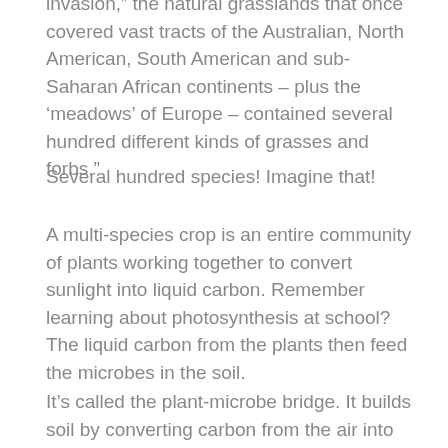invasion,” the natural grasslands that once covered vast tracts of the Australian, North American, South American and sub-Saharan African continents – plus the ‘meadows’ of Europe – contained several hundred different kinds of grasses and forbs.”
Several hundred species! Imagine that!
A multi-species crop is an entire community of plants working together to convert sunlight into liquid carbon. Remember learning about photosynthesis at school? The liquid carbon from the plants then feed the microbes in the soil.
It’s called the plant-microbe bridge. It builds soil by converting carbon from the air into stable